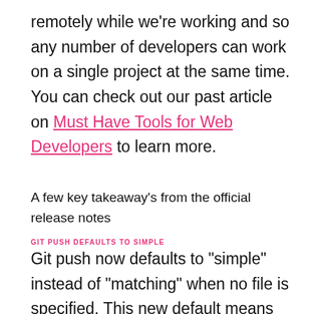remotely while we're working and so any number of developers can work on a single project at the same time. You can check out our past article on Must Have Tools for Web Developers to learn more.
A few key takeaway's from the official release notes
GIT PUSH DEFAULTS TO SIMPLE
Git push now defaults to "simple" instead of "matching" when no file is specified. This new default means that when you are working in